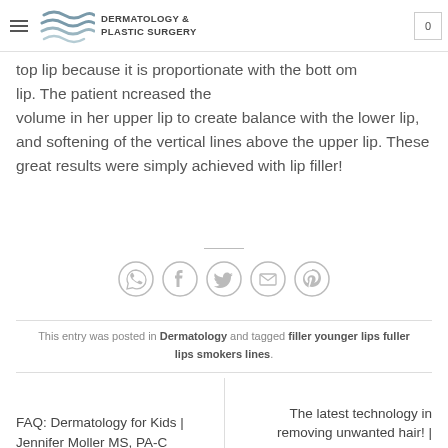Dermatology & Plastic Surgery
top lip because it is proportionate with the bottom lip. The patient increased the volume in her upper lip to create balance with the lower lip, and softening of the vertical lines above the upper lip. These great results were simply achieved with lip filler!
[Figure (infographic): Social sharing icons: WhatsApp, Facebook, Twitter, Email, Pinterest — circular outlined gray icons]
This entry was posted in Dermatology and tagged filler younger lips fuller lips smokers lines.
FAQ: Dermatology for Kids | Jennifer Moller MS, PA-C
The latest technology in removing unwanted hair! | Jennifer Moller M.S. PA-C